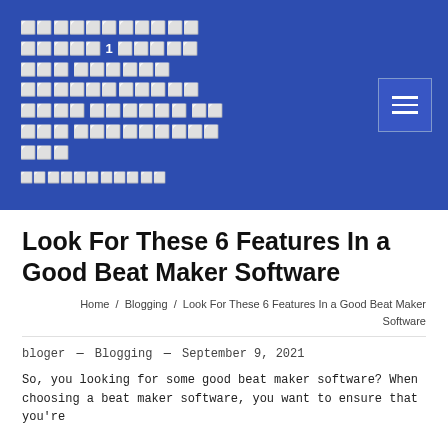ମୁଖ୍ୟ ପୃଷ୍ଠ 1 ବ୍ଲଗ୍ ଲୁକ୍ ଫୋ ଏହ ସ୍ୱରରା ୬ ଫୀଚ୍ ସଂ ୱ ଭ ବୀ ସ ଇ ଗ ବ ବ ମ ସ ସ ଫ ର
Look For These 6 Features In a Good Beat Maker Software
Home / Blogging / Look For These 6 Features In a Good Beat Maker Software
bloger — Blogging — September 9, 2021
So, you looking for some good beat maker software? When choosing a beat maker software, you want to ensure that you're